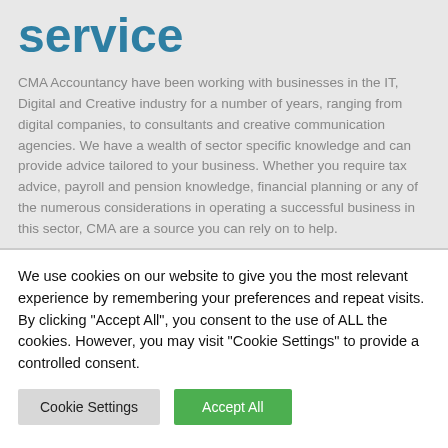service
CMA Accountancy have been working with businesses in the IT, Digital and Creative industry for a number of years, ranging from digital companies, to consultants and creative communication agencies. We have a wealth of sector specific knowledge and can provide advice tailored to your business. Whether you require tax advice, payroll and pension knowledge, financial planning or any of the numerous considerations in operating a successful business in this sector, CMA are a source you can rely on to help.
We use cookies on our website to give you the most relevant experience by remembering your preferences and repeat visits. By clicking "Accept All", you consent to the use of ALL the cookies. However, you may visit "Cookie Settings" to provide a controlled consent.